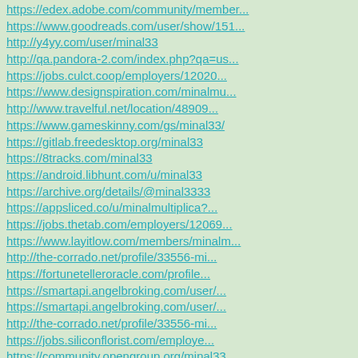https://edex.adobe.com/community/member...
https://www.goodreads.com/user/show/151...
http://y4yy.com/user/minal33
http://qa.pandora-2.com/index.php?qa=us...
https://jobs.culct.coop/employers/12020...
https://www.designspiration.com/minalmu...
http://www.travelful.net/location/48909...
https://www.gameskinny.com/gs/minal33/
https://gitlab.freedesktop.org/minal33
https://8tracks.com/minal33
https://android.libhunt.com/u/minal33
https://archive.org/details/@minal3333
https://appsliced.co/u/minalmultiplica?...
https://jobs.thetab.com/employers/12069...
https://www.layitlow.com/members/minalm...
http://the-corrado.net/profile/33556-mi...
https://fortunetelleroracle.com/profile...
https://smartapi.angelbroking.com/user/...
https://smartapi.angelbroking.com/user/...
http://the-corrado.net/profile/33556-mi...
https://jobs.siliconflorist.com/employe...
https://community.opengroup.org/minal33
https://www.promorapid.com/minal33